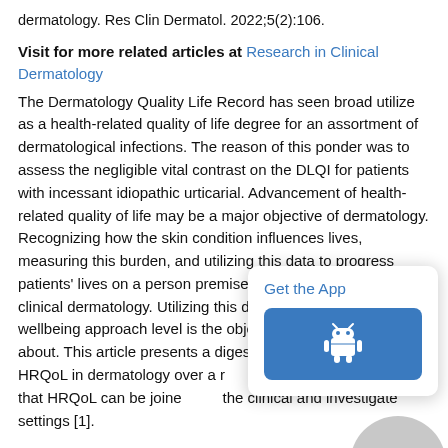dermatology. Res Clin Dermatol. 2022;5(2):106.
Visit for more related articles at Research in Clinical Dermatology
The Dermatology Quality Life Record has seen broad utilize as a health-related quality of life degree for an assortment of dermatological infections. The reason of this ponder was to assess the negligible vital contrast on the DLQI for patients with incessant idiopathic urticarial. Advancement of health-related quality of life may be a major objective of dermatology. Recognizing how the skin condition influences lives, measuring this burden, and utilizing this data to progress patients' lives on a person premise are critical targets in clinical dermatology. Utilizing this data in clinical trial wellbeing approach level is the objective of QoL inquires about. This article presents a digest that address HRQoL in dermatology over a number of maladies and ways that HRQoL can be joined in the clinical and investigate settings [1].
[Figure (screenshot): Get the App popup with Android robot icon button]